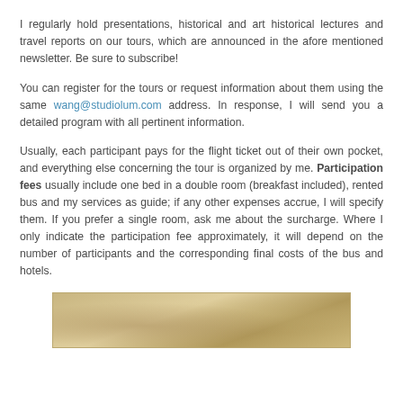I regularly hold presentations, historical and art historical lectures and travel reports on our tours, which are announced in the afore mentioned newsletter. Be sure to subscribe!
You can register for the tours or request information about them using the same wang@studiolum.com address. In response, I will send you a detailed program with all pertinent information.
Usually, each participant pays for the flight ticket out of their own pocket, and everything else concerning the tour is organized by me. Participation fees usually include one bed in a double room (breakfast included), rented bus and my services as guide; if any other expenses accrue, I will specify them. If you prefer a single room, ask me about the surcharge. Where I only indicate the participation fee approximately, it will depend on the number of participants and the corresponding final costs of the bus and hotels.
[Figure (photo): A partial image of what appears to be an old map or historical illustration, shown at the bottom of the page.]